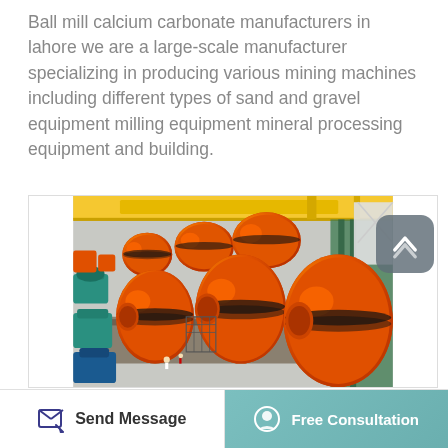Ball mill calcium carbonate manufacturers in lahore we are a large-scale manufacturer specializing in producing various mining machines including different types of sand and gravel equipment milling equipment mineral processing equipment and building.
[Figure (photo): Factory floor showing multiple large orange ball mill machines arranged in rows, with yellow overhead crane, grey concrete floor, green structural supports on right side, and teal/green auxiliary equipment on left side. Workers visible in background.]
Send Message | Free Consultation